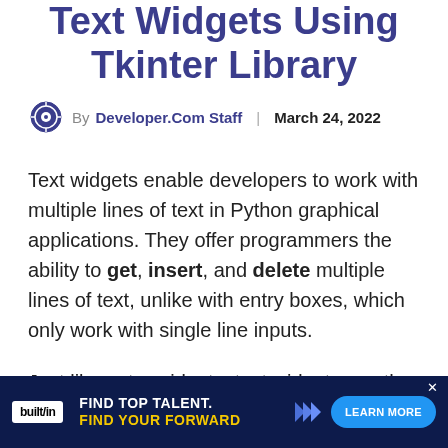Text Widgets Using Tkinter Library
By Developer.Com Staff | March 24, 2022
Text widgets enable developers to work with multiple lines of text in Python graphical applications. They offer programmers the ability to get, insert, and delete multiple lines of text, unlike with entry boxes, which only work with single line inputs.
Just like entry widgets, text widgets use the same set of three methods for getting, inserting, and deleting text. However, their usage is considerably different, since [ad overlay] ne of text.
[Figure (infographic): Advertisement overlay: built in logo - FIND TOP TALENT. FIND YOUR FORWARD with LEARN MORE button on dark blue background]